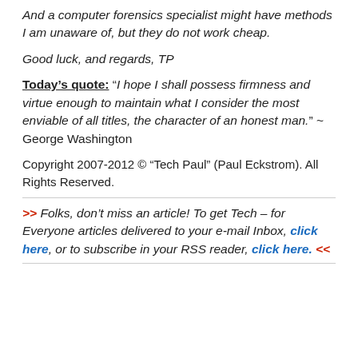And a computer forensics specialist might have methods I am unaware of, but they do not work cheap.
Good luck, and regards, TP
Today's quote: “I hope I shall possess firmness and virtue enough to maintain what I consider the most enviable of all titles, the character of an honest man.” ~ George Washington
Copyright 2007-2012 © “Tech Paul” (Paul Eckstrom). All Rights Reserved.
>> Folks, don’t miss an article! To get Tech – for Everyone articles delivered to your e-mail Inbox, click here, or to subscribe in your RSS reader, click here. <<